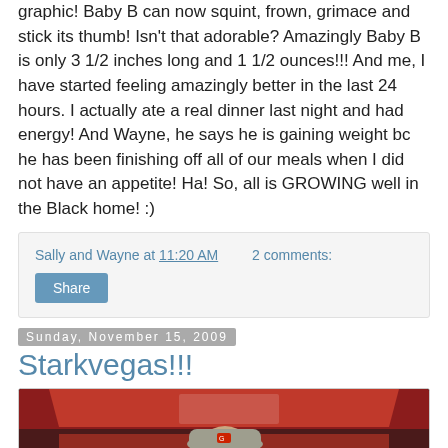graphic!  Baby B can now squint, frown, grimace and stick its thumb!  Isn't that adorable? Amazingly Baby B is only 3 1/2 inches long and 1 1/2 ounces!!!  And me, I have started feeling amazingly better in the last 24 hours.  I actually ate a real dinner last night and had energy!  And Wayne, he says he is gaining weight bc he has been finishing off all of our meals when I did not have an appetite!  Ha!  So, all is GROWING well in the Black home!  :)
Sally and Wayne at 11:20 AM   2 comments:
Share
Sunday, November 15, 2009
Starkvegas!!!
[Figure (photo): A person wearing a cap standing in front of a red/crimson banner or tent at what appears to be an outdoor event.]